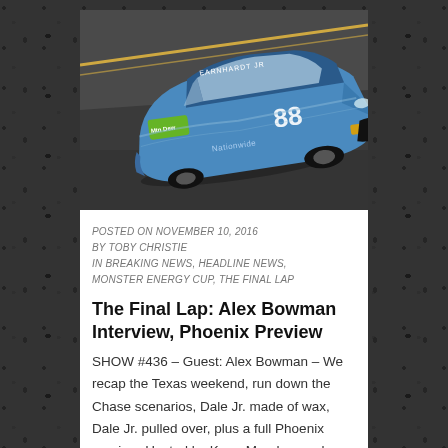[Figure (photo): A blue NASCAR race car (Dale Earnhardt Jr. #88) on a banked track, photographed from an elevated angle. The car is a Chevrolet SS with Mountain Dew sponsorship branding, moving at speed on dark asphalt with visible track markings.]
POSTED ON NOVEMBER 10, 2016
BY TOBY CHRISTIE
IN BREAKING NEWS, HEADLINE NEWS,
MONSTER ENERGY CUP, THE FINAL LAP
The Final Lap: Alex Bowman Interview, Phoenix Preview
SHOW #436 – Guest: Alex Bowman – We recap the Texas weekend, run down the Chase scenarios, Dale Jr. made of wax, Dale Jr. pulled over, plus a full Phoenix preview. Hosted by Kerry Murphey and